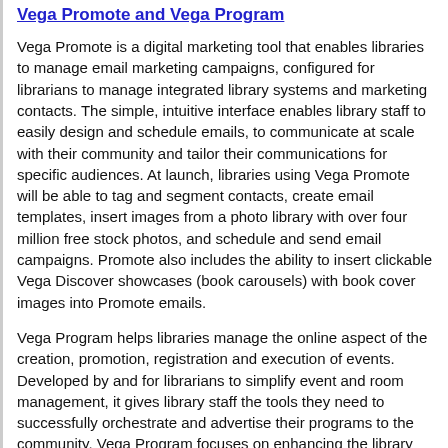Vega Promote and Vega Program
Vega Promote is a digital marketing tool that enables libraries to manage email marketing campaigns, configured for librarians to manage integrated library systems and marketing contacts. The simple, intuitive interface enables library staff to easily design and schedule emails, to communicate at scale with their community and tailor their communications for specific audiences. At launch, libraries using Vega Promote will be able to tag and segment contacts, create email templates, insert images from a photo library with over four million free stock photos, and schedule and send email campaigns. Promote also includes the ability to insert clickable Vega Discover showcases (book carousels) with book cover images into Promote emails.
Vega Program helps libraries manage the online aspect of the creation, promotion, registration and execution of events. Developed by and for librarians to simplify event and room management, it gives library staff the tools they need to successfully orchestrate and advertise their programs to the community. Vega Program focuses on enhancing the library experience for both users registering for programs and library staff managing those programs. For patrons and guests,